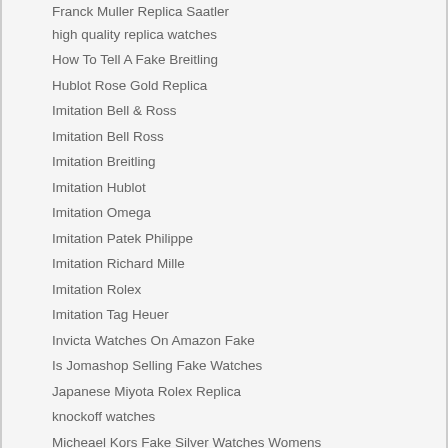Franck Muller Replica Saatler
high quality replica watches
How To Tell A Fake Breitling
Hublot Rose Gold Replica
Imitation Bell & Ross
Imitation Bell Ross
Imitation Breitling
Imitation Hublot
Imitation Omega
Imitation Patek Philippe
Imitation Richard Mille
Imitation Rolex
Imitation Tag Heuer
Invicta Watches On Amazon Fake
Is Jomashop Selling Fake Watches
Japanese Miyota Rolex Replica
knockoff watches
Micheael Kors Fake Silver Watches Womens
Panerai Replica Swiss Movement
Patek Philippe Replica Price